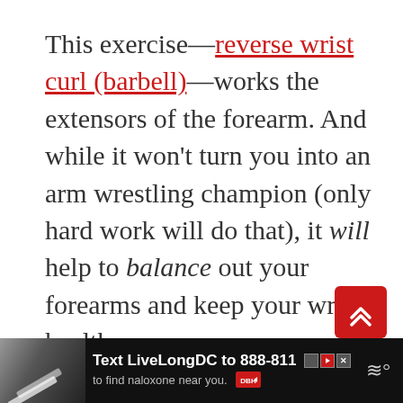This exercise—reverse wrist curl (barbell)—works the extensors of the forearm. And while it won't turn you into an arm wrestling champion (only hard work will do that), it will help to balance out your forearms and keep your wrists healthy.
[Figure (other): Red scroll-to-top button with double chevron up arrows]
[Figure (other): Advertisement bar at bottom: Text LiveLongDC to 888-811 to find naloxone near you. DBH logo. Weather icon.]